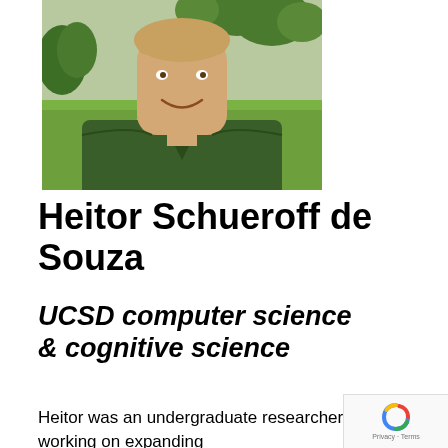[Figure (photo): A young man smiling, wearing a dark green t-shirt, photographed outdoors in a garden setting with green grass and trimmed bushes in the background.]
Heitor Schueroff de Souza
UCSD computer science & cognitive science
Heitor was an undergraduate researcher working on expanding